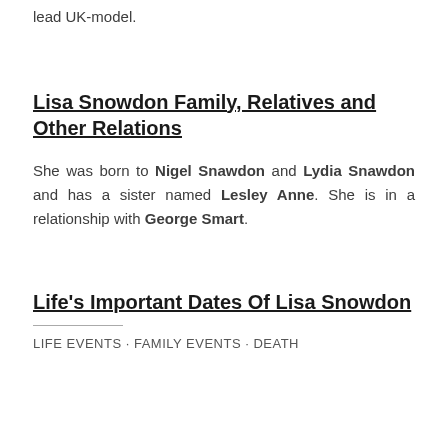lead UK-model.
Lisa Snowdon Family, Relatives and Other Relations
She was born to Nigel Snawdon and Lydia Snawdon and has a sister named Lesley Anne. She is in a relationship with George Smart.
Life's Important Dates Of Lisa Snowdon
LIFE EVENTS · FAMILY EVENTS · DEATH